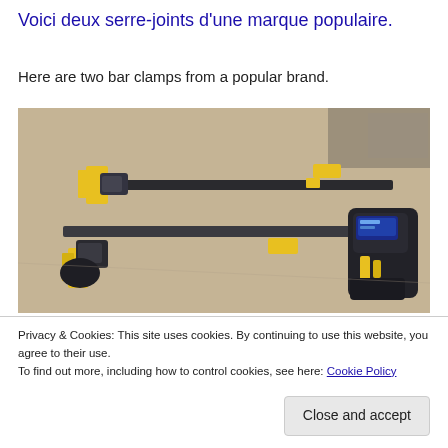Voici deux serre-joints d'une marque populaire.
Here are two bar clamps from a popular brand.
[Figure (photo): Two bar clamps with yellow and black handles and dark metal bars, placed on a beige surface. One clamp has a digital display readout near the grip.]
Privacy & Cookies: This site uses cookies. By continuing to use this website, you agree to their use.
To find out more, including how to control cookies, see here: Cookie Policy
Close and accept